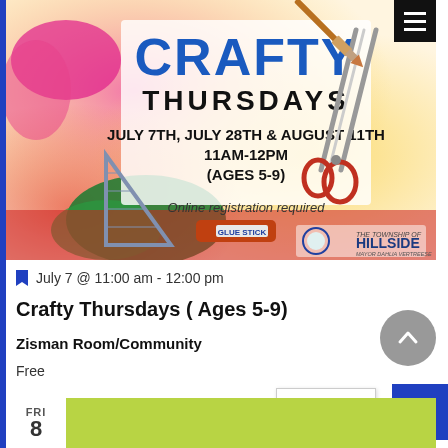[Figure (illustration): Crafty Thursdays event poster with colorful background (pink, yellow, green, red gradients), craft supplies illustrations (scissors, paint brush, ruler, glue stick), text reading CRAFTY THURSDAYS, JULY 7TH, JULY 28TH & AUGUST 11TH, 11AM-12PM, (AGES 5-9), Online registration required, and Township of Hillside logo.]
July 7 @ 11:00 am - 12:00 pm
Crafty Thursdays ( Ages 5-9)
Zisman Room/Community
Free